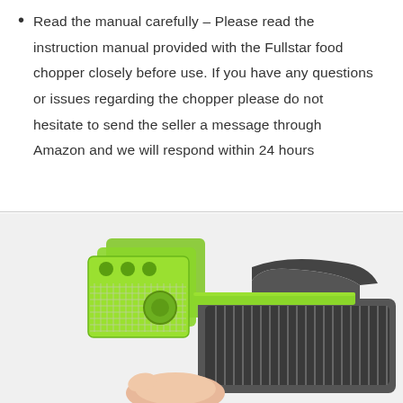Read the manual carefully – Please read the instruction manual provided with the Fullstar food chopper closely before use. If you have any questions or issues regarding the chopper please do not hesitate to send the seller a message through Amazon and we will respond within 24 hours
[Figure (photo): Product photo of a Fullstar food chopper/mandoline slicer with green blade inserts and a grey basket container, shown with interchangeable cutting blade attachments.]